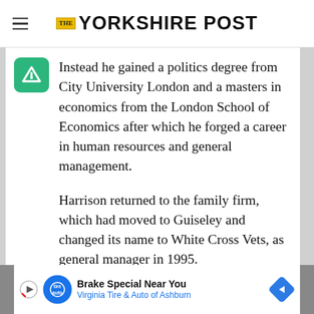THE YORKSHIRE POST
Instead he gained a politics degree from City University London and a masters in economics from the London School of Economics after which he forged a career in human resources and general management.
Harrison returned to the family firm, which had moved to Guiseley and changed its name to White Cross Vets, as general manager in 1995.
[Figure (infographic): Advertisement banner: Brake Special Near You - Virginia Tire & Auto of Ashburn]